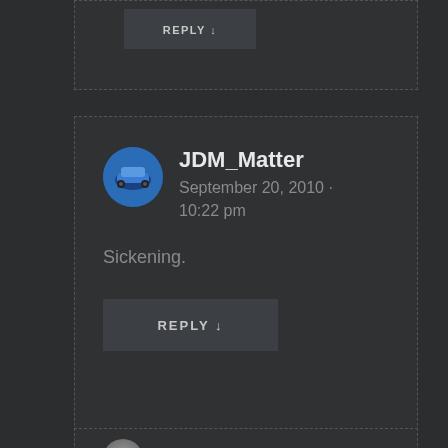[Figure (screenshot): Partial top comment card with a REPLY button visible at the top of the page]
REPLY ↓
[Figure (screenshot): Comment card from user JDM_Matter dated September 20, 2010 · 10:22 pm with comment text 'Sickening.' and a REPLY button]
JDM_Matter
September 20, 2010 · 10:22 pm
Sickening.
REPLY ↓
[Figure (screenshot): Partial bottom comment card with avatar visible]